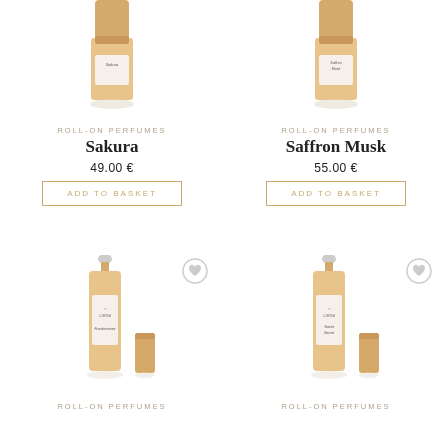[Figure (photo): Partial view of Sakura roll-on perfume bottle (gold/rose gold) cropped at top of page]
ROLL-ON PERFUMES
Sakura
49.00 €
ADD TO BASKET
[Figure (photo): Partial view of Saffron Musk roll-on perfume bottle (gold/rose gold) cropped at top of page]
ROLL-ON PERFUMES
Saffron Musk
55.00 €
ADD TO BASKET
[Figure (photo): Franincense roll-on perfume bottle, Luminia brand, rose gold with white label, cap placed beside]
ROLL-ON PERFUMES
[Figure (photo): Sweet Secret roll-on perfume bottle, Luminia brand, rose gold with white label, cap placed beside]
ROLL-ON PERFUMES